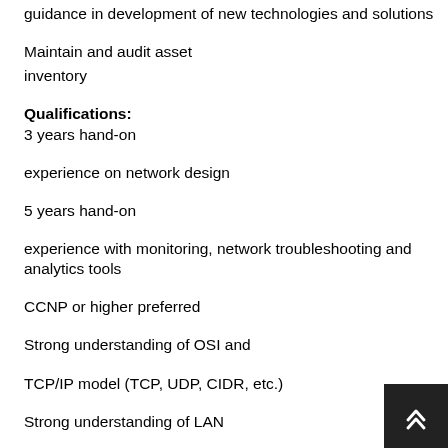guidance in development of new technologies and solutions
Maintain and audit asset inventory
Qualifications:
3 years hand-on
experience on network design
5 years hand-on
experience with monitoring, network troubleshooting and analytics tools
CCNP or higher preferred
Strong understanding of OSI and
TCP/IP model (TCP, UDP, CIDR, etc.)
Strong understanding of LAN